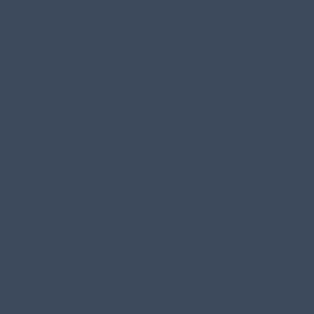abuse which can be left unresolved, and even if a person manages to within an outpatient facility in the K ensures the person doesn't have a intense cravings to use. More advancement and rehabilitation be and bring about healing instead of
Inpatient drug rehab in Kendall, Flo the most proven option as may be drug rehab in Kendall, FL. which p gold standard because individual importantly address all the issues i
Transitions of America
500 Gulfstream Boulevard
(561) 272-9394

Website: www.toa-addictio

Transitions of America pr Abuse Treatment, Inpatient Treatment, Short-Term Dru Diagnosis Drug Rehab, Du

Payment Types: Self Pay,
Lakeview Health Systems